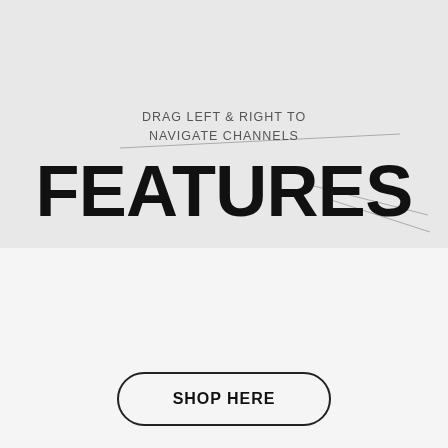DRAG LEFT & RIGHT TO NAVIGATE CHANNELS
FEATURES
[Figure (illustration): Circle with X icon, close button]
SAVE 20% ACROSS ALL OUR WEBSTORE THIS JULY Find out more
SHOP HERE